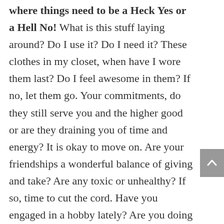where things need to be a Heck Yes or a Hell No! What is this stuff laying around? Do I use it? Do I need it? These clothes in my closet, when have I wore them last? Do I feel awesome in them? If no, let them go. Your commitments, do they still serve you and the higher good or are they draining you of time and energy? It is okay to move on. Are your friendships a wonderful balance of giving and take? Are any toxic or unhealthy? If so, time to cut the cord. Have you engaged in a hobby lately? Are you doing it out of habit or are you still passionate about it? Love and joy lift us out of limitations and into our highest potential! This is where you want to be.